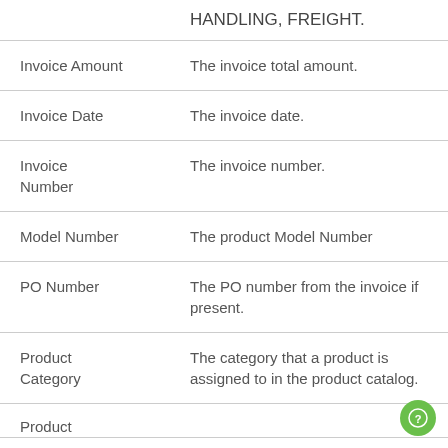| Field | Description |
| --- | --- |
| HANDLING, FREIGHT. |  |
| Invoice Amount | The invoice total amount. |
| Invoice Date | The invoice date. |
| Invoice Number | The invoice number. |
| Model Number | The product Model Number |
| PO Number | The PO number from the invoice if present. |
| Product Category | The category that a product is assigned to in the product catalog. |
| Product |  |